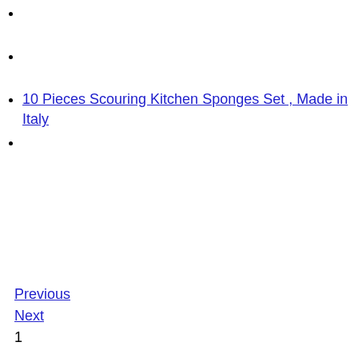10 Pieces Scouring Kitchen Sponges Set , Made in Italy
Previous
Next
1